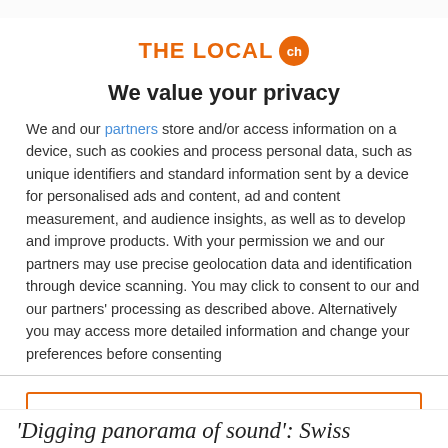[Figure (logo): THE LOCAL ch logo with orange text and orange circle with 'ch' inside]
We value your privacy
We and our partners store and/or access information on a device, such as cookies and process personal data, such as unique identifiers and standard information sent by a device for personalised ads and content, ad and content measurement, and audience insights, as well as to develop and improve products. With your permission we and our partners may use precise geolocation data and identification through device scanning. You may click to consent to our and our partners' processing as described above. Alternatively you may access more detailed information and change your preferences before consenting
ACCEPT
MORE OPTIONS
'Digging panorama of sound': Swiss